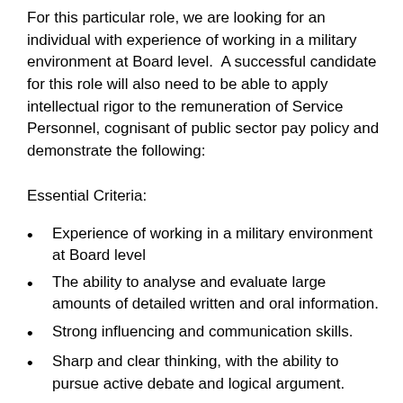For this particular role, we are looking for an individual with experience of working in a military environment at Board level.  A successful candidate for this role will also need to be able to apply intellectual rigor to the remuneration of Service Personnel, cognisant of public sector pay policy and demonstrate the following:
Essential Criteria:
Experience of working in a military environment at Board level
The ability to analyse and evaluate large amounts of detailed written and oral information.
Strong influencing and communication skills.
Sharp and clear thinking, with the ability to pursue active debate and logical argument.
The ability to command the confidence of key stakeholders including Ministers, Review Body colleagues, Senior Government officials and those wit hin the remit group.
Understanding of the broader context of the remit...